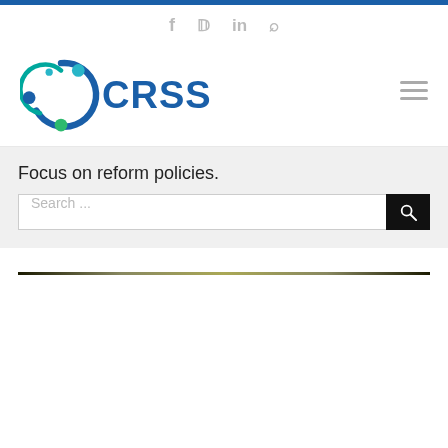CRSS website header with social icons (f, Twitter, in, RSS) and top blue bar
[Figure (logo): CRSS logo: circular icon with blue and green nodes and arc, next to bold blue text 'CRSS']
Focus on reform policies.
Search ...